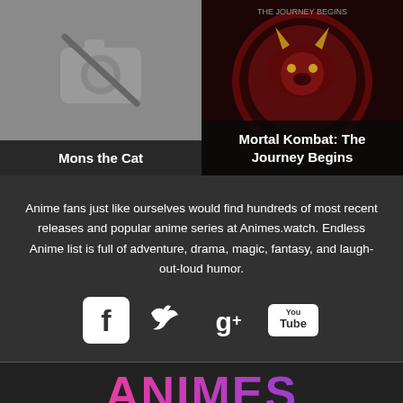[Figure (other): Card with no-photo placeholder icon for 'Mons the Cat']
Mons the Cat
[Figure (other): Mortal Kombat dragon logo on dark red background]
Mortal Kombat: The Journey Begins
Anime fans just like ourselves would find hundreds of most recent releases and popular anime series at Animes.watch. Endless Anime list is full of adventure, drama, magic, fantasy, and laugh-out-loud humor.
[Figure (other): Social media icons: Facebook, Twitter, Google+, YouTube]
ANIMES